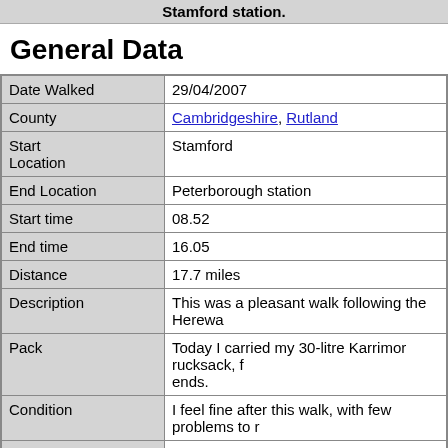Stamford station.
General Data
|  |  |
| --- | --- |
| Date Walked | 29/04/2007 |
| County | Cambridgeshire, Rutland |
| Start Location | Stamford |
| End Location | Peterborough station |
| Start time | 08.52 |
| End time | 16.05 |
| Distance | 17.7 miles |
| Description | This was a pleasant walk following the Herewa... |
| Pack | Today I carried my 30-litre Karrimor rucksack, f... ends. |
| Condition | I feel fine after this walk, with few problems to r... |
| Weather | It was cloudy throughout the day with no sign c... day went on. |
| OS map | Explorer number 15 (Rutland Water) and Explo... |